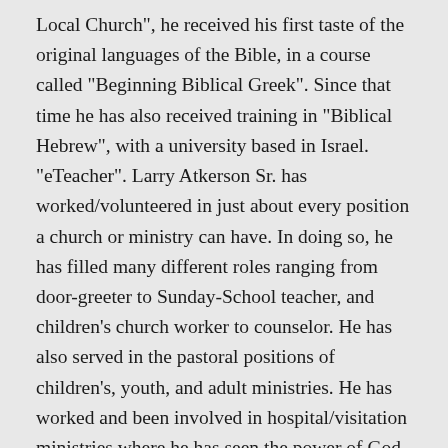Local Church", he received his first taste of the original languages of the Bible, in a course called "Beginning Biblical Greek". Since that time he has also received training in "Biblical Hebrew", with a university based in Israel. "eTeacher". Larry Atkerson Sr. has worked/volunteered in just about every position a church or ministry can have. In doing so, he has filled many different roles ranging from door-greeter to Sunday-School teacher, and children's church worker to counselor. He has also served in the pastoral positions of children's, youth, and adult ministries. He has worked and been involved in hospital/visitation ministries where he has seen the power of God change people's lives. He delights in going on short-term mission trips! All the while, seeing the love of God with applied wisdom - transform people and their lives forever. Larry Atkerson Sr. teaches a weekly bible study class starting just after spring break each year and continuing until right before